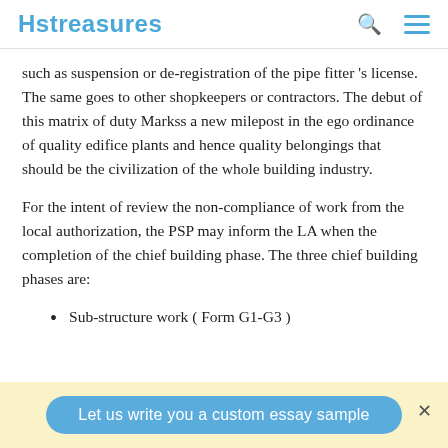Hstreasures
such as suspension or de-registration of the pipe fitter 's license. The same goes to other shopkeepers or contractors. The debut of this matrix of duty Markss a new milepost in the ego ordinance of quality edifice plants and hence quality belongings that should be the civilization of the whole building industry.
For the intent of review the non-compliance of work from the local authorization, the PSP may inform the LA when the completion of the chief building phase. The three chief building phases are:
Sub-structure work ( Form G1-G3 )
Let us write you a custom essay sample